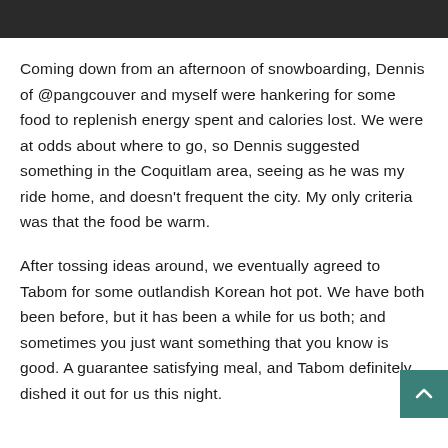[Figure (photo): Dark/blurred photo strip at the top of the page]
Coming down from an afternoon of snowboarding, Dennis of @pangcouver and myself were hankering for some food to replenish energy spent and calories lost. We were at odds about where to go, so Dennis suggested something in the Coquitlam area, seeing as he was my ride home, and doesn't frequent the city. My only criteria was that the food be warm.
After tossing ideas around, we eventually agreed to Tabom for some outlandish Korean hot pot. We have both been before, but it has been a while for us both; and sometimes you just want something that you know is good. A guarantee satisfying meal, and Tabom definitely dished it out for us this night.